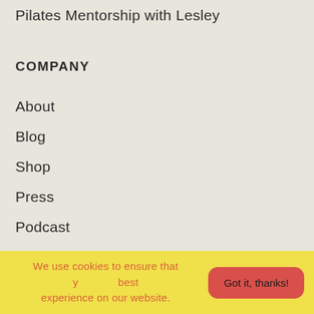Pilates Mentorship with Lesley
COMPANY
About
Blog
Shop
Press
Podcast
Affiliates
Perks
We use cookies to ensure that you get the best experience on our website. Got it, thanks!